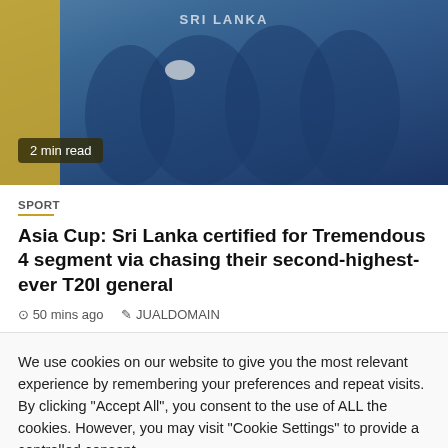[Figure (photo): Cricket players in blue Sri Lanka jerseys grouped together, with one player holding a helmet. Text 'SRI LANKA' visible at top.]
2 min read
SPORT
Asia Cup: Sri Lanka certified for Tremendous 4 segment via chasing their second-highest-ever T20I general
50 mins ago   JUALDOMAIN
We use cookies on our website to give you the most relevant experience by remembering your preferences and repeat visits. By clicking "Accept All", you consent to the use of ALL the cookies. However, you may visit "Cookie Settings" to provide a controlled consent.